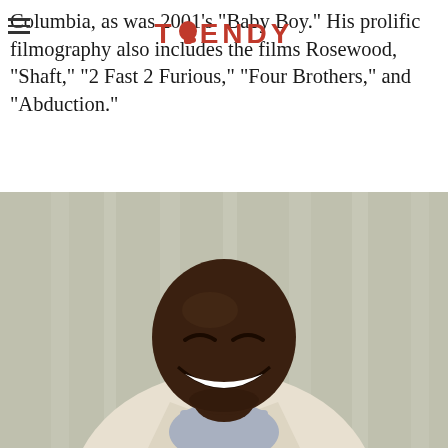TRENDY
Columbia, as was 2001’s “Baby Boy.” His prolific filmography also includes the films Rosewood, “Shaft,” “2 Fast 2 Furious,” “Four Brothers,” and “Abduction.”
[Figure (photo): A smiling bald Black man wearing a light cream blazer over a plaid shirt, laughing joyfully against a light curtain background.]